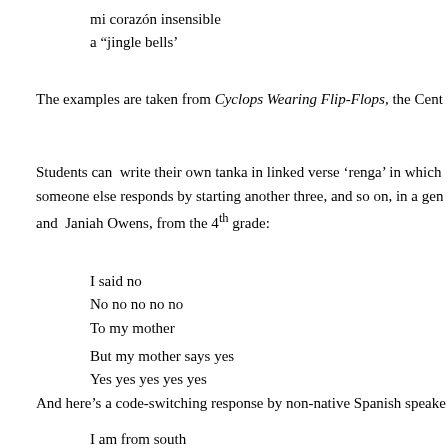mi corazón insensible
a “jingle bells’
The examples are taken from Cyclops Wearing Flip-Flops, the Cent
Students can  write their own tanka in linked verse ‘renga’ in which someone else responds by starting another three, and so on, in a gen and  Janiah Owens, from the 4th grade:
I said no
No no no no no
To my mother
But my mother says yes
Yes yes yes yes yes
And here’s a code-switching response by non-native Spanish speake
I am from south